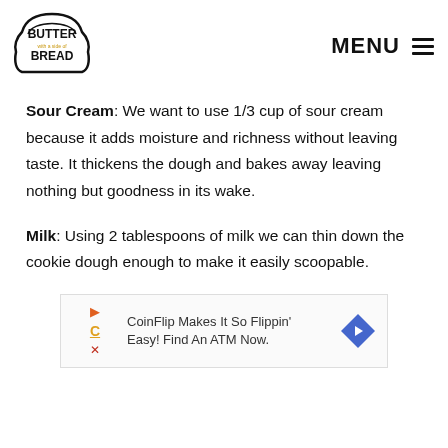BUTTER with a side of BREAD | MENU
Sour Cream: We want to use 1/3 cup of sour cream because it adds moisture and richness without leaving taste. It thickens the dough and bakes away leaving nothing but goodness in its wake.
Milk: Using 2 tablespoons of milk we can thin down the cookie dough enough to make it easily scoopable.
[Figure (other): Advertisement banner: CoinFlip Makes It So Flippin' Easy! Find An ATM Now.]